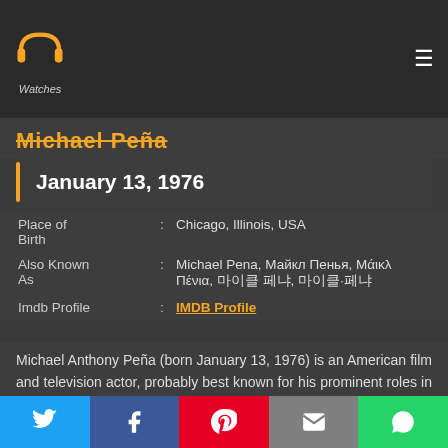PP Watchers logo and hamburger menu
Michael Peña
January 13, 1976
| Field | : | Value |
| --- | --- | --- |
| Place of Birth | : | Chicago, Illinois, USA |
| Also Known As | : | Michael Pena, Майкл Пенья, Μάικλ Πένια, 마이클 페냐, 마이클·페냐 |
| Imdb Profile | : | IMDB Profile |
Michael Anthony Peña (born January 13, 1976) is an American film and television actor, probably best known for his prominent roles in Crash, Observe and Report, and Oliver Stone's World Trade Center. He also appeared in the Nickelback
Twitter, Facebook, Pinterest, Email, WhatsApp share buttons